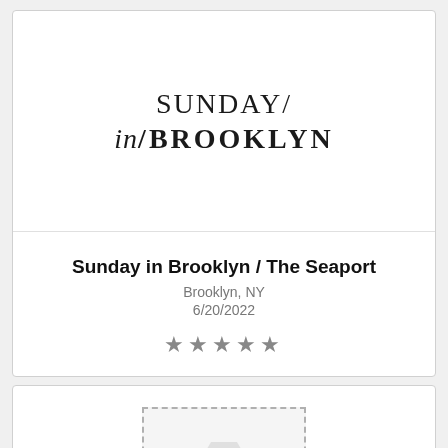[Figure (logo): Sunday in Brooklyn restaurant logo with stylized text: SUNDAY/ in/BROOKLYN]
Sunday in Brooklyn / The Seaport
Brooklyn, NY
6/20/2022
★★★★★
[Figure (photo): No image available placeholder with dashed border and camera icon]